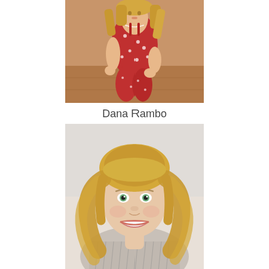[Figure (photo): Young blonde woman seated, wearing a red floral outfit, photographed outdoors]
Dana Rambo
[Figure (photo): Blonde woman smiling, headshot/portrait photo, wearing a striped shirt]